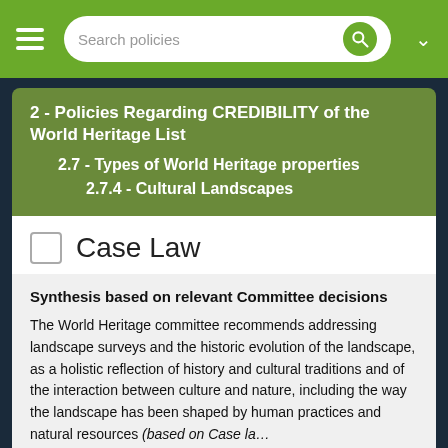Search policies
2 - Policies Regarding CREDIBILITY of the World Heritage List
2.7 - Types of World Heritage properties
2.7.4 - Cultural Landscapes
Case Law
Synthesis based on relevant Committee decisions
The World Heritage committee recommends addressing landscape surveys and the historic evolution of the landscape, as a holistic reflection of history and cultural traditions and of the interaction between culture and nature, including the way the landscape has been shaped by human practices and natural resources (based on Case law on decisions on Nominations).